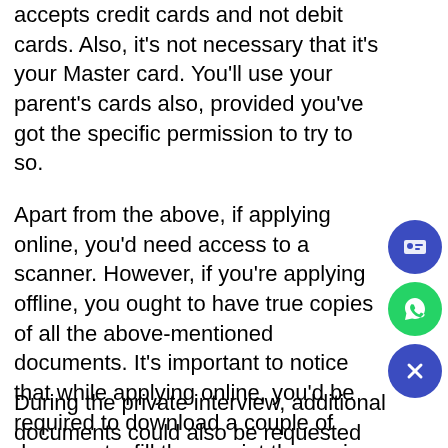accepts credit cards and not debit cards. Also, it's not necessary that it's your Master card. You'll use your parent's cards also, provided you've got the specific permission to try to so.
Apart from the above, if applying online, you'd need access to a scanner. However, if you're applying offline, you ought to have true copies of all the above-mentioned documents. It's important to notice that while applying online, you'd be required to download a couple of documents, fill them, print them, sign them, then upload them. Accordingly, the supply of the scanner must be arranged. The system also allows you to upload an honest quality digital image. We, however, recommend a scanner to a camera.
During the private interview, additional documents could also be requested by the interviewer. These could also be documents to